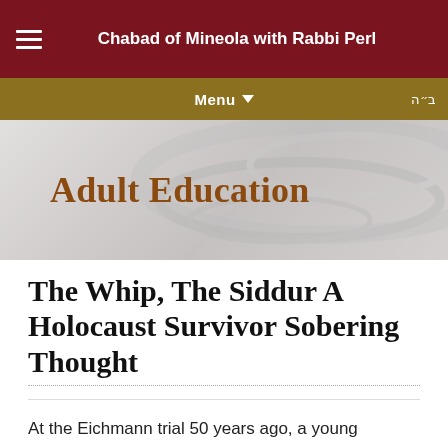Chabad of Mineola with Rabbi Perl
Menu
[Figure (illustration): Adult Education banner with decorative swirl pattern background]
The Whip, The Siddur A Holocaust Survivor Sobering Thought
At the Eichmann trial 50 years ago, a young holocaust survivor testified about an incident where Auschwitz guards called the prisoners out to see one young boy getting punished. He describes: